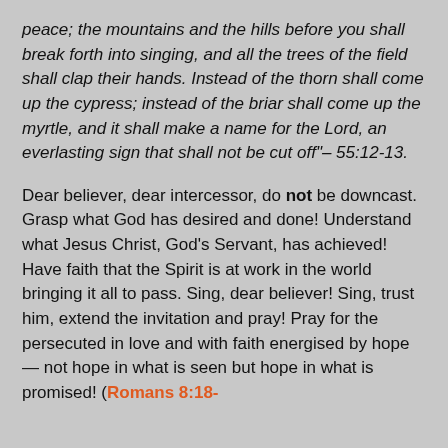peace; the mountains and the hills before you shall break forth into singing, and all the trees of the field shall clap their hands. Instead of the thorn shall come up the cypress; instead of the briar shall come up the myrtle, and it shall make a name for the Lord, an everlasting sign that shall not be cut off"– 55:12-13.
Dear believer, dear intercessor, do not be downcast. Grasp what God has desired and done! Understand what Jesus Christ, God's Servant, has achieved! Have faith that the Spirit is at work in the world bringing it all to pass. Sing, dear believer! Sing, trust him, extend the invitation and pray! Pray for the persecuted in love and with faith energised by hope — not hope in what is seen but hope in what is promised! (Romans 8:18-